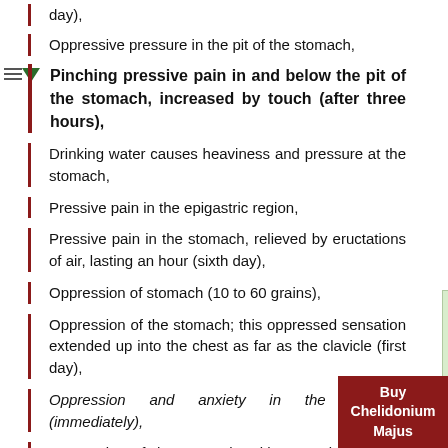day),
Oppressive pressure in the pit of the stomach,
Pinching pressive pain in and below the pit of the stomach, increased by touch (after three hours),
Drinking water causes heaviness and pressure at the stomach,
Pressive pain in the epigastric region,
Pressive pain in the stomach, relieved by eructations of air, lasting an hour (sixth day),
Oppression of stomach (10 to 60 grains),
Oppression of the stomach; this oppressed sensation extended up into the chest as far as the clavicle (first day),
Oppression and anxiety in the stomach (immediately),
Oppression of the stomach, with eructations, which relieved the oppression (after ten minutes),
Oppressive pain in the upper part of the e[pigastrium],